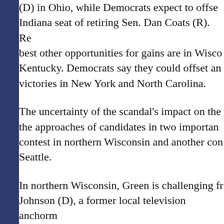(D) in Ohio, while Democrats expect to offset Indiana seat of retiring Sen. Dan Coats (R). Republicans' best other opportunities for gains are in Wisconsin and Kentucky. Democrats say they could offset any losses with victories in New York and North Carolina.

The uncertainty of the scandal's impact on the approaches of candidates in two important contests — a contest in northern Wisconsin and another contest near Seattle.

In northern Wisconsin, Green is challenging from Johnson (D), a former local television anchorman in a heavily Catholic and conservative, having elected Democrats to the House this century.

Johnson voted against the Republican resolution and instead backed the Democratic alternative that the inquiry should conclude by the end of this year. Republicans were surprised by his vote, believing he might side with Republicans to protect himself politically at home.

Johnson said the majority of calls and messages opposed impeachment, but he also said his constituents wanted it resolved quickly. "People are saying we want it over," adding, "They want something done to and about...